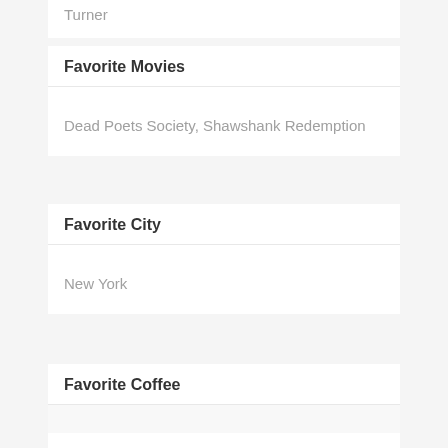Turner
Favorite Movies
Dead Poets Society, Shawshank Redemption
Favorite City
New York
Favorite Coffee